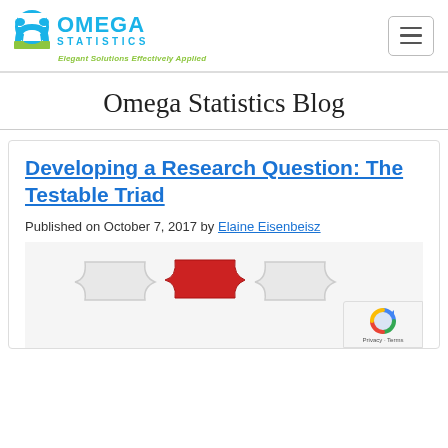[Figure (logo): Omega Statistics logo with circular omega symbol in blue/green, text OMEGA STATISTICS in blue, tagline Elegant Solutions Effectively Applied in green italic]
Omega Statistics Blog
Developing a Research Question: The Testable Triad
Published on October 7, 2017 by Elaine Eisenbeisz
[Figure (photo): Puzzle pieces — two white pieces and one red piece in the center, partially assembled on white background]